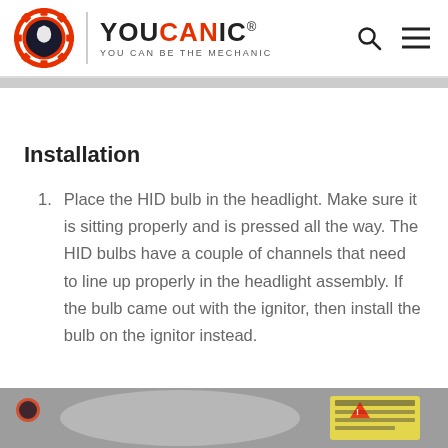YOUCANIC - YOU CAN BE THE MECHANIC
Installation
Place the HID bulb in the headlight. Make sure it is sitting properly and is pressed all the way. The HID bulbs have a couple of channels that need to line up properly in the headlight assembly. If the bulb came out with the ignitor, then install the bulb on the ignitor instead.
[Figure (photo): Partial view of a car headlight assembly being worked on]